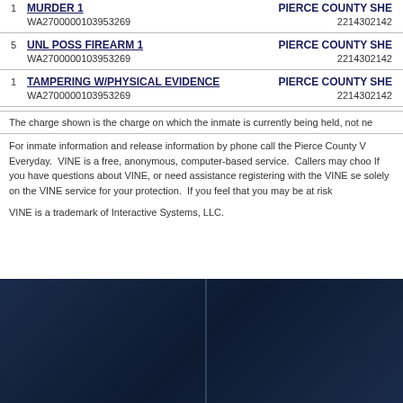1 MURDER 1
WA2700000103953269
PIERCE COUNTY SHE
2214302142
5 UNL POSS FIREARM 1
WA2700000103953269
PIERCE COUNTY SHE
2214302142
1 TAMPERING W/PHYSICAL EVIDENCE
WA2700000103953269
PIERCE COUNTY SHE
2214302142
The charge shown is the charge on which the inmate is currently being held, not ne
For inmate information and release information by phone call the Pierce County V Everyday. VINE is a free, anonymous, computer-based service. Callers may choo If you have questions about VINE, or need assistance registering with the VINE se solely on the VINE service for your protection. If you feel that you may be at risk
VINE is a trademark of Interactive Systems, LLC.